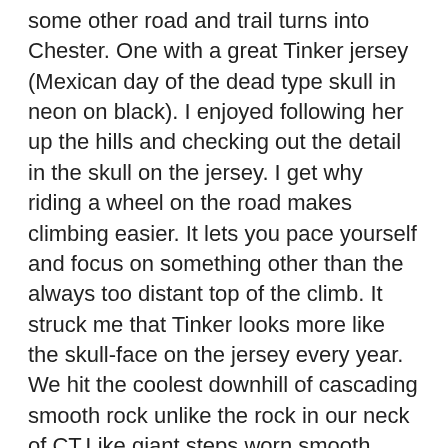some other road and trail turns into Chester. One with a great Tinker jersey (Mexican day of the dead type skull in neon on black). I enjoyed following her up the hills and checking out the detail in the skull on the jersey. I get why riding a wheel on the road makes climbing easier. It lets you pace yourself and focus on something other than the always too distant top of the climb. It struck me that Tinker looks more like the skull-face on the jersey every year. We hit the coolest downhill of cascading smooth rock unlike the rock in our neck of CT.Like giant steps worn smooth, with a stream cascading down from the rain. The other woman cyclist on a cross bike was flying and went over her bars as we were ripping down a technical downhill. Of course, she was fine, being a mountain biker, you don't get hurt when you fall. I realized that is probably why we stick with it as if it was something you get hurt at all the time, you'd probably find something else to do with your time. As we climbed the a long hill I noticed we could see the CT river through the trees. One of the lady cyclists, shouted from farther behind that a car sprayed something out the window at me as they passed, but I didn't notice. I noticed my knee was starting to hurt because my new cleat was off kilter.